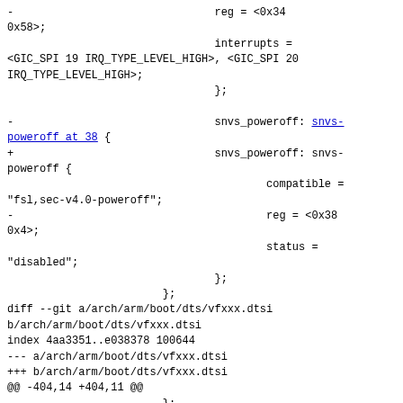- reg = <0x34 0x58>;
                                interrupts =
<GIC_SPI 19 IRQ_TYPE_LEVEL_HIGH>, <GIC_SPI 20
IRQ_TYPE_LEVEL_HIGH>;
                                };

-                               snvs_poweroff: snvs-poweroff at 38 {
+                               snvs_poweroff: snvs-poweroff {
                                        compatible =
"fsl,sec-v4.0-poweroff";
-                                       reg = <0x38
0x4>;
                                        status =
"disabled";
                                };
                        };
diff --git a/arch/arm/boot/dts/vfxxx.dtsi
b/arch/arm/boot/dts/vfxxx.dtsi
index 4aa3351..e038378 100644
--- a/arch/arm/boot/dts/vfxxx.dtsi
+++ b/arch/arm/boot/dts/vfxxx.dtsi
@@ -404,14 +404,11 @@
                        };

                snvs0: snvs at 400a7000 {
-                       compatible = "fsl,sec-v4.0-mon", "simple-bus";
                        #address-cells = <1>;